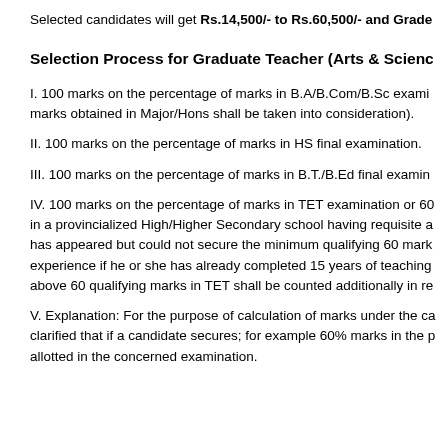Selected candidates will get Rs.14,500/- to Rs.60,500/- and Grade
Selection Process for Graduate Teacher (Arts & Scienc
I. 100 marks on the percentage of marks in B.A/B.Com/B.Sc exami marks obtained in Major/Hons shall be taken into consideration).
II. 100 marks on the percentage of marks in HS final examination.
III. 100 marks on the percentage of marks in B.T./B.Ed final examin
IV. 100 marks on the percentage of marks in TET examination or 60 in a provincialized High/Higher Secondary school having requisite a has appeared but could not secure the minimum qualifying 60 mark experience if he or she has already completed 15 years of teaching above 60 qualifying marks in TET shall be counted additionally in re
V. Explanation: For the purpose of calculation of marks under the ca clarified that if a candidate secures; for example 60% marks in the p allotted in the concerned examination.